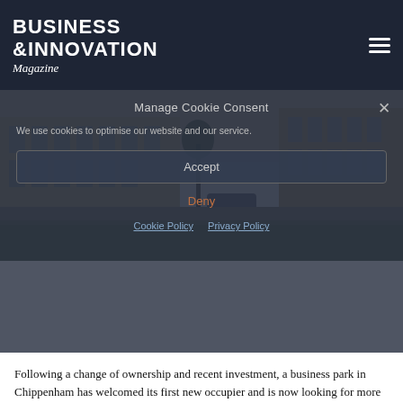BUSINESS & INNOVATION Magazine
[Figure (photo): Exterior photo of Cornbrash Park business park buildings at Bumpers Farm, Chippenham, with warm sandy building facades and landscaped grounds]
Manage Cookie Consent
We use cookies to optimise our website and our service.
Accept
Deny
Cookie Policy   Privacy Policy
Following a change of ownership and recent investment, a business park in Chippenham has welcomed its first new occupier and is now looking for more companies to join the community.
Cornbrash Park, at Bumpers Farm, on the western fringes of the town centre adjacent to the A350, has recently undergone an upgrade by owners Craigard, beginning with the refurbishment of Unit 4A/4B, a self-contained 3 storey office at the heart of the development.